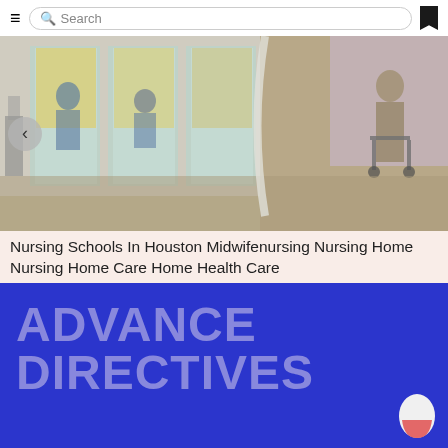Search
[Figure (photo): Photo of a nursing home corridor showing glass-walled rooms with patients and medical equipment on the left, and an elderly person with a walker on the right side of the hallway.]
Nursing Schools In Houston Midwifenursing Nursing Home Nursing Home Care Home Health Care
[Figure (infographic): Blue background graphic with large bold text reading 'ADVANCE DIRECTIVES' in lighter blue/purple color, with a pill icon in the bottom right corner.]